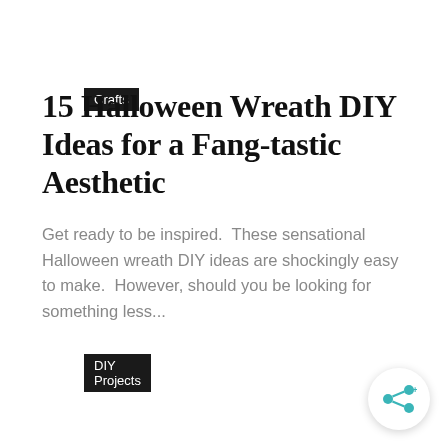Crafts
15 Halloween Wreath DIY Ideas for a Fang-tastic Aesthetic
Get ready to be inspired.  These sensational Halloween wreath DIY ideas are shockingly easy to make.  However, should you be looking for something less...
DIY Projects